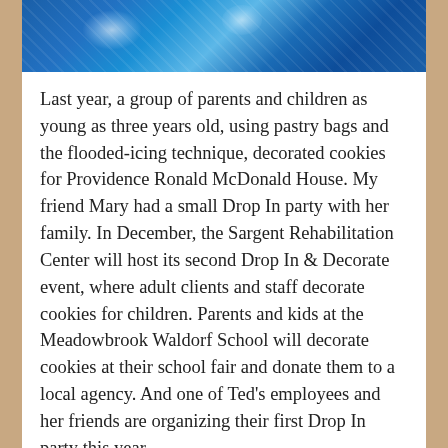[Figure (photo): Top portion of a photo showing decorated cookies or baked goods on a blue background with snowflake pattern, partially cropped]
Last year, a group of parents and children as young as three years old, using pastry bags and the flooded-icing technique, decorated cookies for Providence Ronald McDonald House. My friend Mary had a small Drop In party with her family. In December, the Sargent Rehabilitation Center will host its second Drop In & Decorate event, where adult clients and staff decorate cookies for children. Parents and kids at the Meadowbrook Waldorf School will decorate cookies at their school fair and donate them to a local agency. And one of Ted's employees and her friends are organizing their first Drop In party this year.
(By the way, cookie decorating for donation isn't just a winter holiday idea. How about Mother's Day, or